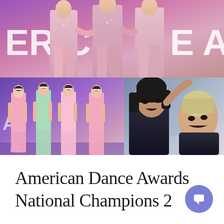[Figure (photo): Three-panel photo collage of dance competition. Top panel: Three dancers in pink/mauve leotards with floral details standing on stage with purple/blue banner reading 'ERIC' and 'E A' visible. Bottom-left panel: Four young dancers in pastel long dresses (pink, mint, pink, pink) standing with backs to camera on a purple lit stage. Bottom-right panel: Two female dancers in black outfits performing, one with dark hair and one with blonde hair, both with dramatic expressions.]
American Dance Awards National Champions 2